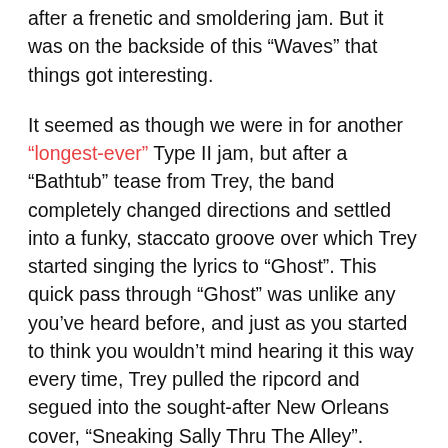after a frenetic and smoldering jam. But it was on the backside of this “Waves” that things got interesting.
It seemed as though we were in for another “longest-ever” Type II jam, but after a “Bathtub” tease from Trey, the band completely changed directions and settled into a funky, staccato groove over which Trey started singing the lyrics to “Ghost”. This quick pass through “Ghost” was unlike any you’ve heard before, and just as you started to think you wouldn’t mind hearing it this way every time, Trey pulled the ripcord and segued into the sought-after New Orleans cover, “Sneaking Sally Thru The Alley”.